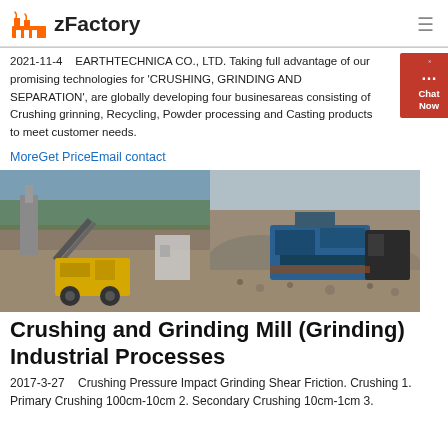zFactory
2021-11-4    EARTHTECHNICA CO., LTD. Taking full advantage of our promising technologies for 'CRUSHING, GRINDING AND SEPARATION', are globally developing four businesareas consisting of Crushing grinning, Recycling, Powder processing and Casting products to meet customer needs.
MoreGet PriceEmail contact
[Figure (photo): Two side-by-side photos of industrial crushing and grinding mill equipment at a quarry/mining site. Left photo shows a yellow mobile crusher with conveyor belts. Right photo shows a blue crushing machine with gravel piles.]
Crushing and Grinding Mill (Grinding) Industrial Processes
2017-3-27    Crushing Pressure Impact Grinding Shear Friction. Crushing 1. Primary Crushing 100cm-10cm 2. Secondary Crushing 10cm-1cm 3.